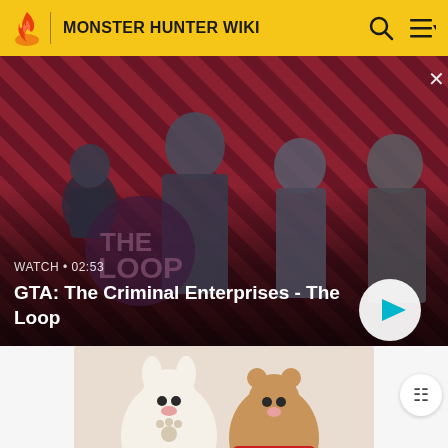MONSTER HUNTER WIKI
[Figure (screenshot): GTA: The Criminal Enterprises - The Loop video thumbnail with four characters on a red diagonal-striped background. Shows 'WATCH • 02:53' label and a play button.]
[Figure (photo): Limited Edition Plush Dolls — two large stuffed animal plush toys (one white/cream, one in red dress) sitting together with a small game card between them.]
Limited Edition Plush Dolls
A collaboration with Sanrio was announced on March 16,